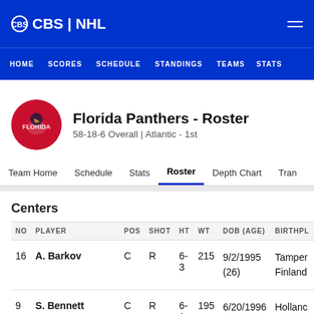CBS | NHL
HOME SCORES SCHEDULE STANDINGS TEAMS STATS
Florida Panthers - Roster
58-18-6 Overall | Atlantic - 1st
Team Home   Schedule   Stats   Roster   Depth Chart   Tran
Centers
| NO | PLAYER | POS | SHOT | HT | WT | DOB (AGE) | BIRTHPL |
| --- | --- | --- | --- | --- | --- | --- | --- |
| 16 | A. Barkov | C | R | 6-3 | 215 | 9/2/1995 (26) | Tampa, Finland |
| 9 | S. Bennett | C | R | 6-1 | 195 | 6/20/1996 (26) | Holland Landing |